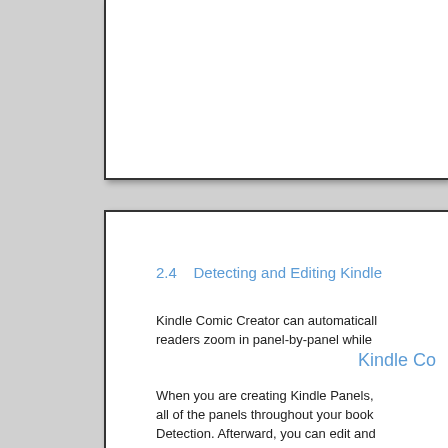Kindle Co
2.4    Detecting and Editing Kindle
Kindle Comic Creator can automaticall readers zoom in panel-by-panel while
When you are creating Kindle Panels, all of the panels throughout your book Detection. Afterward, you can edit and
2.4.1    Detecting Kindle Panels